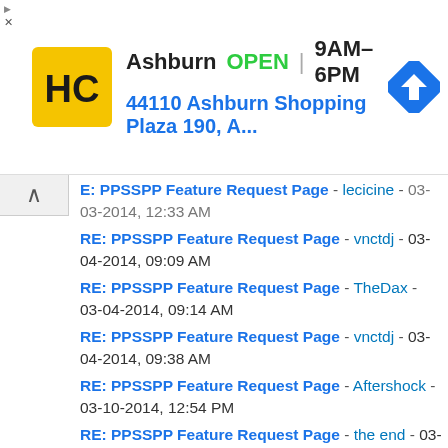[Figure (other): Advertisement banner for HC store in Ashburn, showing logo, OPEN status, hours 9AM-6PM, address 44110 Ashburn Shopping Plaza 190, A... and navigation icon]
RE: PPSSPP Feature Request Page - lecicine - 03-03-2014, 12:33 AM
RE: PPSSPP Feature Request Page - vnctdj - 03-04-2014, 09:09 AM
RE: PPSSPP Feature Request Page - TheDax - 03-04-2014, 09:14 AM
RE: PPSSPP Feature Request Page - vnctdj - 03-04-2014, 09:38 AM
RE: PPSSPP Feature Request Page - Aftershock - 03-10-2014, 12:54 PM
RE: PPSSPP Feature Request Page - the end - 03-11-2014, 12:42 AM
RE: PPSSPP Feature Request Page - GuenosNoLife - 03-14-2014, 08:04 AM
RE: PPSSPP Feature Request Page - vnctdj - 03-14-2014, 09:24 AM
RE: PPSSPP Feature Request Page - TheDax - 03-14-2014, 11:30 AM
RE: PPSSPP Feature Request Page - skyhot004 - 03-15-2014, 08:04 AM
RE: PPSSPP Feature Request Page - mckimiaklopa - 03-16-2014, 12:53 AM
RE: PPSSPP Feature Request Page - nc50lc - 03-17-2014, 08:51 PM
RE: PPSSPP Feature Request Page - Faviopkrk - 03-18-2014, 05:24 AM
RE: PPSSPP Feature Request Page - vnctdj - 03-18-2014, 07:58 PM
RE: PPSSPP Feature Request Page - xboxmandude - 03-21-2014